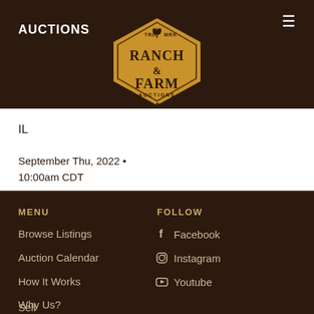AUCTIONS
[Figure (logo): Ranch & Farm Auctions logo — gold diamond-shaped badge with wheat motif, TRD MRK text, and three stars]
IL
September Thu, 2022 • 10:00am CDT
MENU
FOLLOW
Browse Listings
Auction Calendar
How It Works
Why Us?
Sell
Facebook
Instagram
Youtube